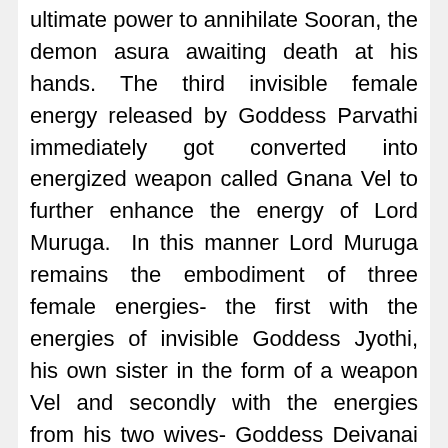ultimate power to annihilate Sooran, the demon asura awaiting death at his hands. The third invisible female energy released by Goddess Parvathi immediately got converted into energized weapon called Gnana Vel to further enhance the energy of Lord Muruga.  In this manner Lord Muruga remains the embodiment of three female energies- the first with the energies of invisible Goddess Jyothi, his own sister in the form of a weapon Vel and secondly with the energies from his two wives- Goddess Deivanai as Kriya Sakthi and Goddess Valli as Ichcha Sakthi (The aspect and antecedents of Goddess Jyothi has been explained in a researched article “Swarupa Vel: Skanda’s sister Jyothi” submitted by Dr Alagappa Alagappan in the First